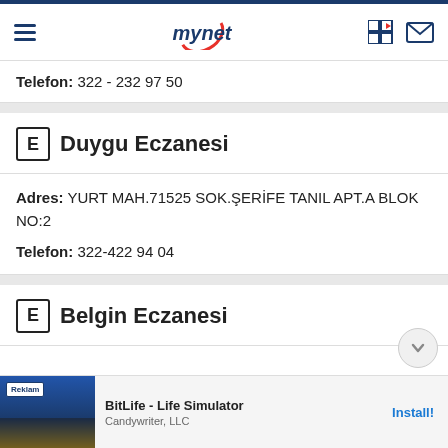mynet
Telefon: 322 - 232 97 50
E Duygu Eczanesi
Adres: YURT MAH.71525 SOK.ŞERİFE TANIL APT.A BLOK NO:2
Telefon: 322-422 94 04
E Belgin Eczanesi
[Figure (screenshot): Mobile advertisement banner: BitLife - Life Simulator by Candywriter, LLC with Install button]